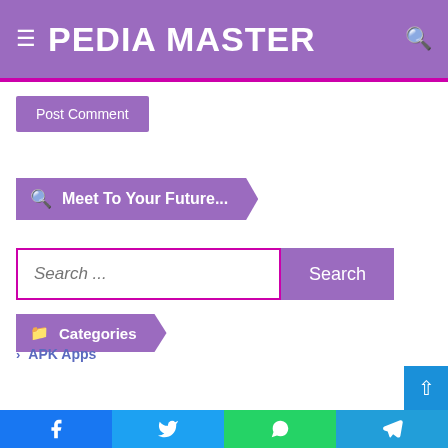PEDIA MASTER
Post Comment
Meet To Your Future...
Search ...
Categories
APK Apps